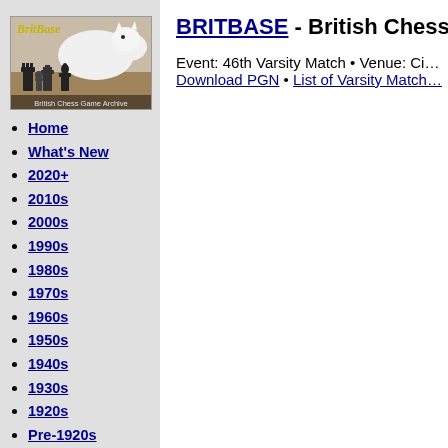[Figure (photo): BritBase British Chess Game Archive logo image showing a cat lying among chess pieces]
Home
What's New
2020+
2010s
2000s
1990s
1980s
1970s
1960s
1950s
1940s
1930s
1920s
Pre-1920s
Hastings
British Champions
Gibraltar
BRITBASE - British Chess Ga...
Event: 46th Varsity Match • Venue: Ci... Download PGN • List of Varsity Match...